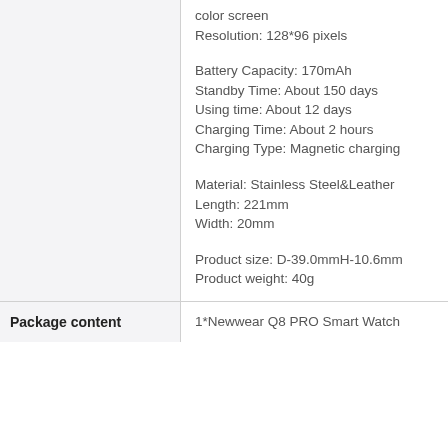|  |  |
| --- | --- |
|  | color screen
Resolution: 128*96 pixels

Battery Capacity: 170mAh
Standby Time: About 150 days
Using time: About 12 days
Charging Time: About 2 hours
Charging Type: Magnetic charging

Material: Stainless Steel&Leather
Length: 221mm
Width: 20mm

Product size: D-39.0mmH-10.6mm
Product weight: 40g |
| Package content | 1*Newwear Q8 PRO Smart Watch |